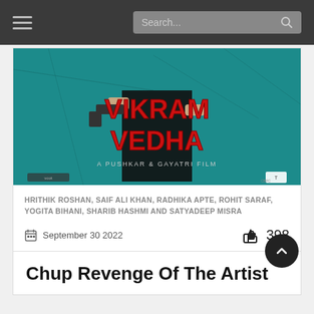Search
[Figure (photo): Vikram Vedha movie poster - dark background with teal stone texture, man in black jeans holding a gun, bold red text reading VIKRAM VEDHA, subtitle 'A PUSHKAR & GAYATRI FILM']
HRITHIK ROSHAN, SAIF ALI KHAN, RADHIKA APTE, ROHIT SARAF, YOGITA BIHANI, SHARIB HASHMI AND SATYADEEP MISRA
September 30 2022
398
Chup Revenge Of The Artist